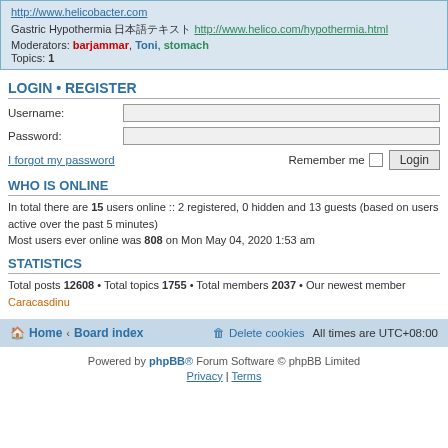http://www.helicobacter.com
Gastric Hypothermia [symbols] http://www.helico.com/hypothermia.html
Moderators: barjammar, Toni, stomach
Topics: 1
LOGIN • REGISTER
Username:
Password:
I forgot my password   Remember me  [checkbox]  Login
WHO IS ONLINE
In total there are 15 users online :: 2 registered, 0 hidden and 13 guests (based on users active over the past 5 minutes)
Most users ever online was 808 on Mon May 04, 2020 1:53 am
STATISTICS
Total posts 12608 • Total topics 1755 • Total members 2037 • Our newest member Caracasdinu
Home · Board index   Delete cookies  All times are UTC+08:00
Powered by phpBB® Forum Software © phpBB Limited
Privacy | Terms